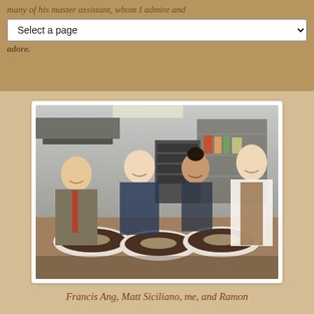many of his master assistant, whom I admire and adore.
[Figure (photo): Four people (Francis Ang, Matt Siciliano, the author, and Ramon) posing smiling in a professional kitchen, wearing aprons, with trays of food on the counter in front of them.]
Francis Ang, Matt Siciliano, me, and Ramon